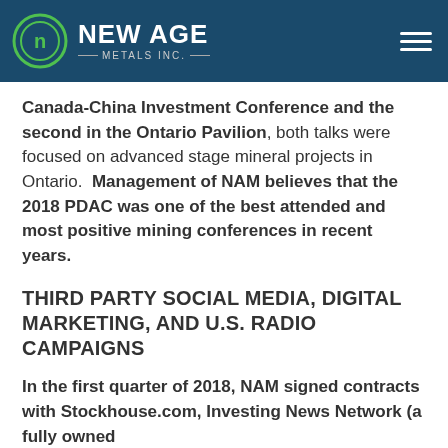NEW AGE METALS INC.
Canada-China Investment Conference and the second in the Ontario Pavilion, both talks were focused on advanced stage mineral projects in Ontario. Management of NAM believes that the 2018 PDAC was one of the best attended and most positive mining conferences in recent years.
THIRD PARTY SOCIAL MEDIA, DIGITAL MARKETING, AND U.S. RADIO CAMPAIGNS
In the first quarter of 2018, NAM signed contracts with Stockhouse.com, Investing News Network (a fully owned